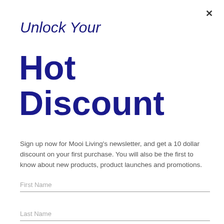×
Unlock Your
Hot Discount
Sign up now for Mooi Living's newsletter, and get a 10 dollar discount on your first purchase. You will also be the first to know about new products, product launches and promotions.
First Name
Last Name